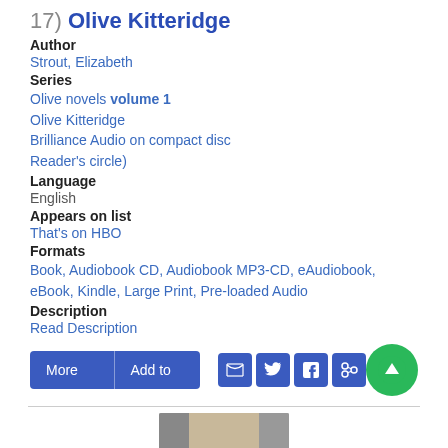17) Olive Kitteridge
Author
Strout, Elizabeth
Series
Olive novels volume 1
Olive Kitteridge
Brilliance Audio on compact disc
Reader's circle)
Language
English
Appears on list
That's on HBO
Formats
Book, Audiobook CD, Audiobook MP3-CD, eAudiobook, eBook, Kindle, Large Print, Pre-loaded Audio
Description
Read Description
[Figure (screenshot): Bottom portion of a book cover image, partially visible]